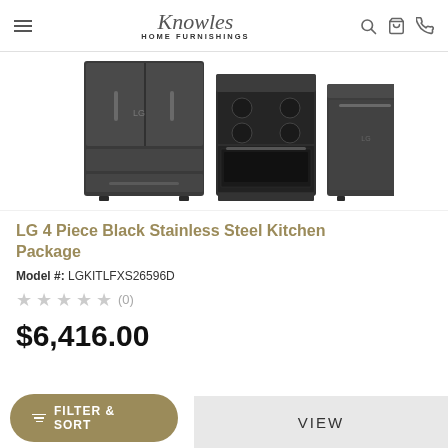Knowles HOME FURNISHINGS
[Figure (photo): Three LG black stainless steel kitchen appliances: a large French door refrigerator on the left, an electric range/oven in the center, and a dishwasher on the right.]
LG 4 Piece Black Stainless Steel Kitchen Package
Model #: LGKITLFXS26596D
★ ★ ★ ★ ★ (0)
$6,416.00